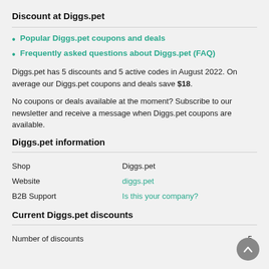Discount at Diggs.pet
Popular Diggs.pet coupons and deals
Frequently asked questions about Diggs.pet (FAQ)
Diggs.pet has 5 discounts and 5 active codes in August 2022. On average our Diggs.pet coupons and deals save $18.
No coupons or deals available at the moment? Subscribe to our newsletter and receive a message when Diggs.pet coupons are available.
Diggs.pet information
| Shop | Diggs.pet |
| Website | diggs.pet |
| B2B Support | Is this your company? |
Current Diggs.pet discounts
| Number of discounts | 5 |